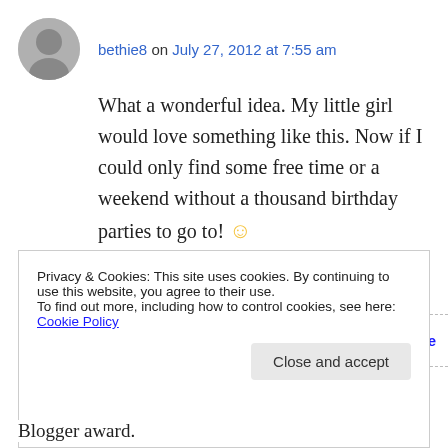bethie8 on July 27, 2012 at 7:55 am
What a wonderful idea. My little girl would love something like this. Now if I could only find some free time or a weekend without a thousand birthday parties to go to! 🙂
↳ Reply
[Figure (screenshot): WordPress Works Best on Pressable advertisement banner]
Privacy & Cookies: This site uses cookies. By continuing to use this website, you agree to their use.
To find out more, including how to control cookies, see here: Cookie Policy
Close and accept
Blogger award.